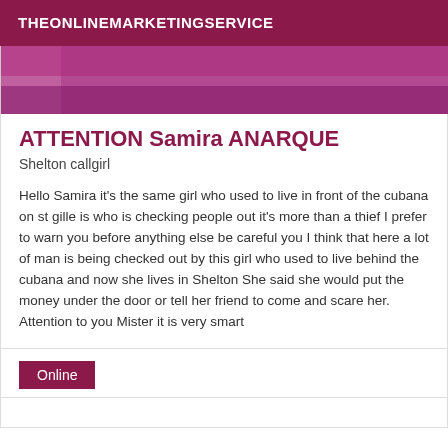THEONLINEMARKETINGSERVICE
[Figure (photo): Cropped photo with purple/pink background, partial text visible]
ATTENTION Samira ANARQUE
Shelton callgirl
Hello Samira it's the same girl who used to live in front of the cubana on st gille is who is checking people out it's more than a thief I prefer to warn you before anything else be careful you I think that here a lot of man is being checked out by this girl who used to live behind the cubana and now she lives in Shelton She said she would put the money under the door or tell her friend to come and scare her. Attention to you Mister it is very smart
Online